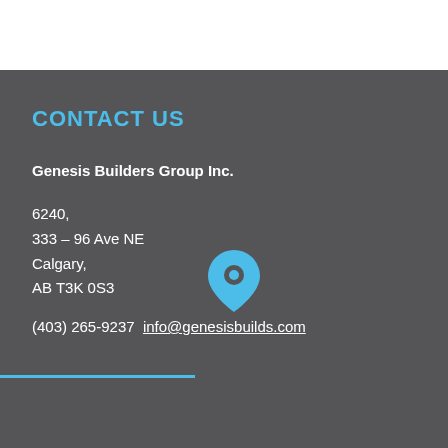CONTACT US
Genesis Builders Group Inc.
6240,
333 – 96 Ave NE
Calgary,
AB T3K 0S3
(403) 265-9237  info@genesisbuilds.com
Leave a message